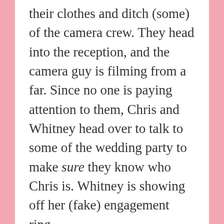their clothes and ditch (some) of the camera crew. They head into the reception, and the camera guy is filming from a far. Since no one is paying attention to them, Chris and Whitney head over to talk to some of the wedding party to make sure they know who Chris is. Whitney is showing off her (fake) engagement ring.
They dance on the dance floor (and make out) to steal even more of the spotlight. The bride and groom's family must have